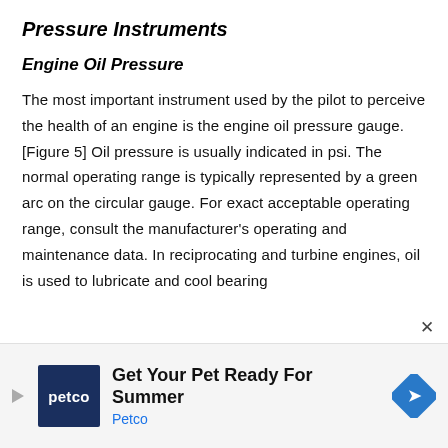Pressure Instruments
Engine Oil Pressure
The most important instrument used by the pilot to perceive the health of an engine is the engine oil pressure gauge. [Figure 5] Oil pressure is usually indicated in psi. The normal operating range is typically represented by a green arc on the circular gauge. For exact acceptable operating range, consult the manufacturer's operating and maintenance data. In reciprocating and turbine engines, oil is used to lubricate and cool bearing
[Figure (other): Advertisement banner: Petco 'Get Your Pet Ready For Summer' ad with Petco logo, headline text, brand name in blue, and a diamond-shaped navigation icon]